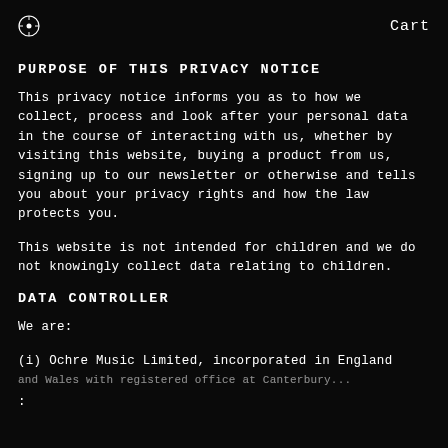Cart
PURPOSE OF THIS PRIVACY NOTICE
This privacy notice informs you as to how we collect, process and look after your personal data in the course of interacting with us, whether by visiting this website, buying a product from us, signing up to our newsletter or otherwise and tells you about your privacy rights and how the law protects you.
This website is not intended for children and we do not knowingly collect data relating to children.
DATA CONTROLLER
We are:
(i)  Ochre Music Limited, incorporated in England and Wales with registered office at Canterbury...
: